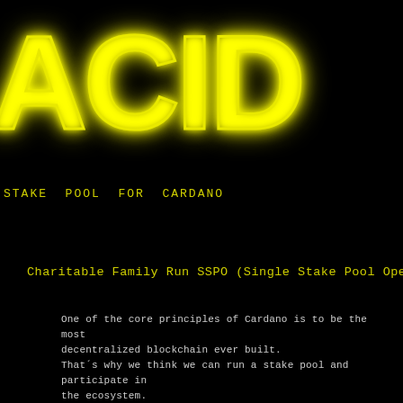[Figure (logo): Neon yellow glowing text logo spelling 'ACID' on black background, outlined/hollow letters with yellow neon glow effect]
STAKE POOL FOR CARDANO
Charitable Family Run SSPO (Single Stake Pool Operator)
One of the core principles of Cardano is to be the most decentralized blockchain ever built.
That's why we think we can run a stake pool and participate in the ecosystem.
We are not a business and we share the pool gains with local and non local charities.